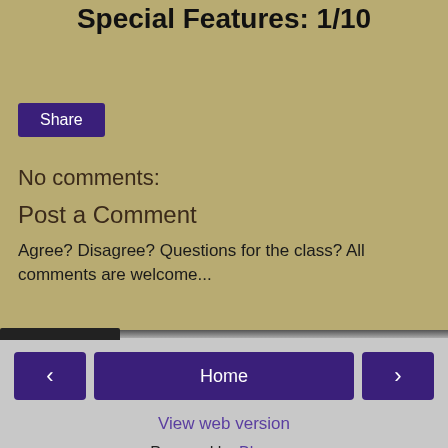Special Features: 1/10
Share
No comments:
Post a Comment
Agree? Disagree? Questions for the class? All comments are welcome...
‹
Home
›
View web version
Powered by Blogger.